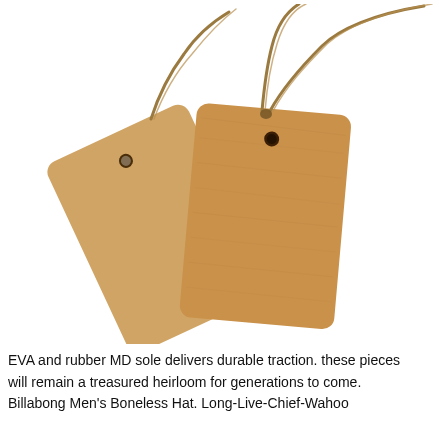[Figure (photo): Two kraft paper gift tags with rounded corners and a small hole punched at the top, tied together with a twisted twine/jute string. The tags are brown/tan colored and overlap each other slightly. The background is white.]
EVA and rubber MD sole delivers durable traction. these pieces will remain a treasured heirloom for generations to come. Billabong Men's Boneless Hat. Long-Live-Chief-Wahoo